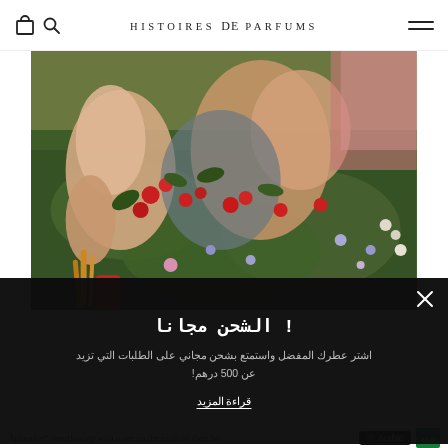HISTOIRES de PARFUMS — navigation header with bag, search, and menu icons
[Figure (photo): Classical painting detail showing two figures (likely goddesses or nymphs) lying in a lush meadow overflowing with red poppies, wildflowers, and greenery. Rich Pre-Raphaelite style oil painting with warm skin tones and deep greens.]
! الشحن مجانا
اشتر عطرك المفضل واستمتع بشحن مجاني على الطلبات التي تزيد عن 500 درهم!
قراءة المزيد
Aphrodite* overflowing with roses on the roofs of their ho